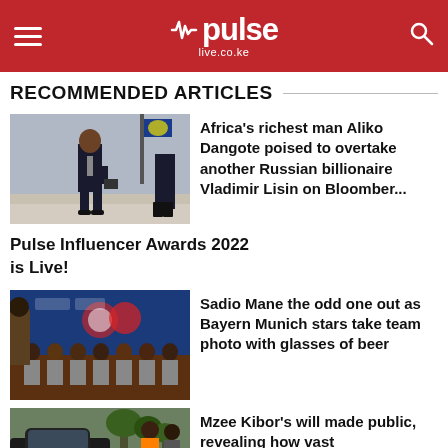pulse live.co.ke
RECOMMENDED ARTICLES
[Figure (photo): Man in suit standing on steps]
Africa's richest man Aliko Dangote poised to overtake another Russian billionaire Vladimir Lisin on Bloomber...
Pulse Influencer Awards 2022 is Live!
[Figure (photo): Bayern Munich team photo with Sadio Mane]
Sadio Mane the odd one out as Bayern Munich stars take team photo with glasses of beer
[Figure (photo): Mzee Kibor article image]
Mzee Kibor's will made public, revealing how vast